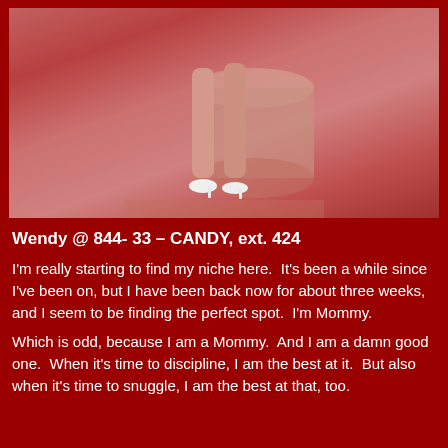[Figure (photo): Photo showing legs of a person standing near a cylindrical pedestal, wearing white heels, with a pinkish-red tinted background]
Wendy @ 844- 33 – CANDY, ext. 424
I'm really starting to find my niche here.  It's been a while since I've been on, but I have been back now for about three weeks, and I seem to be finding the perfect spot.  I'm Mommy.
Which is odd, because I am a Mommy.  And I am a damn good one.  When it's time to discipline, I am the best at it.  But also when it's time to snuggle, I am the best at that, too.